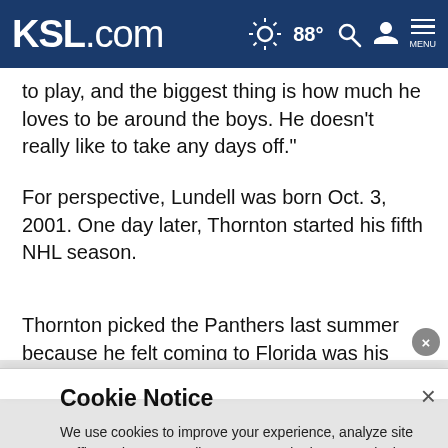KSL.com  88°  [search] [account] MENU
to play, and the biggest thing is how much he loves to be around the boys. He doesn't really like to take any days off."
For perspective, Lundell was born Oct. 3, 2001. One day later, Thornton started his fifth NHL season.
Thornton picked the Panthers last summer because he felt coming to Florida was his best hope to finally win what would be his first Stanley Cup championship. The Panthers
Cookie Notice

We use cookies to improve your experience, analyze site traffic, and to personalize content and ads. By continuing to use our site, you consent to our use of cookies. Please visit our Terms of Use and Privacy Policy for more information.